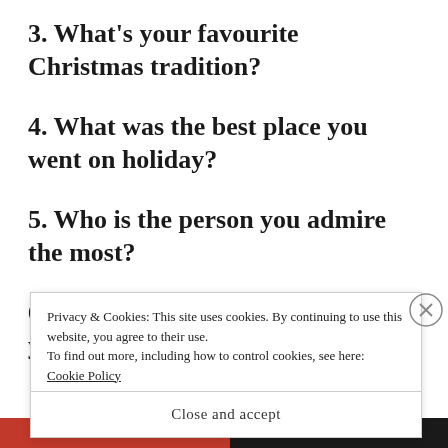3. What's your favourite Christmas tradition?
4. What was the best place you went on holiday?
5. Who is the person you admire the most?
6. What genre of movies appeals you to the most?
Privacy & Cookies: This site uses cookies. By continuing to use this website, you agree to their use.
To find out more, including how to control cookies, see here: Cookie Policy
Close and accept